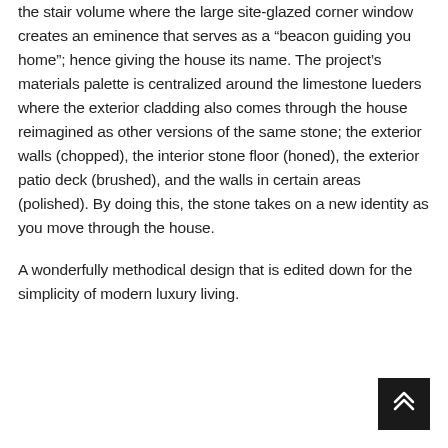the stair volume where the large site-glazed corner window creates an eminence that serves as a “beacon guiding you home”; hence giving the house its name. The project’s materials palette is centralized around the limestone lueders where the exterior cladding also comes through the house reimagined as other versions of the same stone; the exterior walls (chopped), the interior stone floor (honed), the exterior patio deck (brushed), and the walls in certain areas (polished). By doing this, the stone takes on a new identity as you move through the house.
A wonderfully methodical design that is edited down for the simplicity of modern luxury living.
[Figure (other): Back to top button: dark square button with double upward chevron arrow icon]